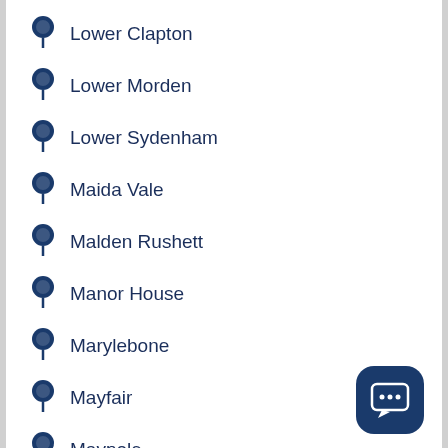Lower Clapton
Lower Morden
Lower Sydenham
Maida Vale
Malden Rushett
Manor House
Marylebone
Mayfair
Maypole
Maze Hill
Middle Temple
Mildmay
[Figure (illustration): Chat/messaging button icon in dark navy blue rounded square]